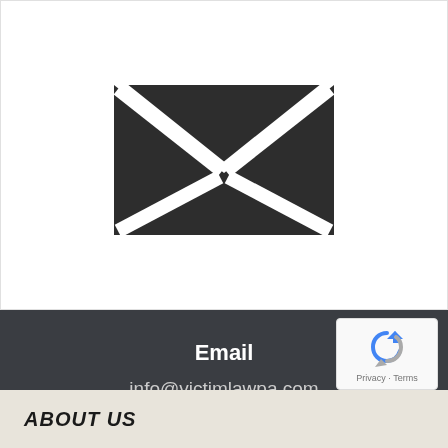[Figure (illustration): Dark envelope / email icon — a black filled envelope shape with X-shaped flap lines on a white background]
Email
info@victimlawpa.com
[Figure (logo): Google reCAPTCHA badge with blue/grey arrow icon and Privacy · Terms text]
ABOUT US